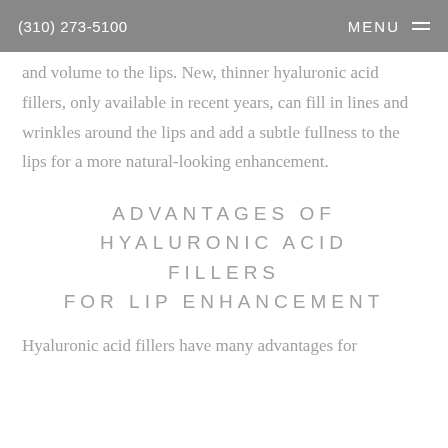(310) 273-5100   MENU
and volume to the lips. New, thinner hyaluronic acid fillers, only available in recent years, can fill in lines and wrinkles around the lips and add a subtle fullness to the lips for a more natural-looking enhancement.
ADVANTAGES OF HYALURONIC ACID FILLERS FOR LIP ENHANCEMENT
Hyaluronic acid fillers have many advantages for